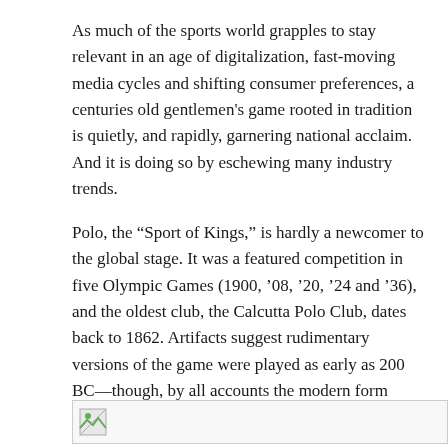As much of the sports world grapples to stay relevant in an age of digitalization, fast-moving media cycles and shifting consumer preferences, a centuries old gentlemen’s game rooted in tradition is quietly, and rapidly, garnering national acclaim. And it is doing so by eschewing many industry trends.
Polo, the “Sport of Kings,” is hardly a newcomer to the global stage. It was a featured competition in five Olympic Games (1900, ’08, ’20, ’24 and ’36), and the oldest club, the Calcutta Polo Club, dates back to 1862. Artifacts suggest rudimentary versions of the game were played as early as 200 BC—though, by all accounts the modern form originated in India in the mid-19th Century.
[Figure (photo): Broken image placeholder at the bottom of the page]